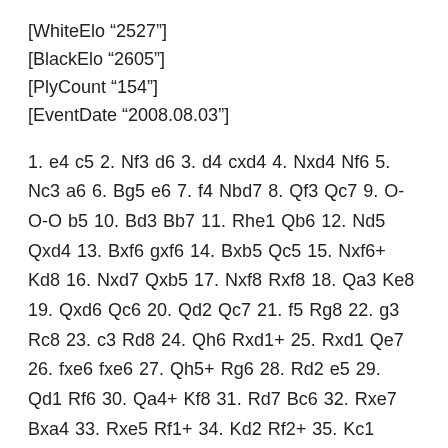[WhiteElo “2527”]
[BlackElo “2605”]
[PlyCount “154”]
[EventDate “2008.08.03”]
1. e4 c5 2. Nf3 d6 3. d4 cxd4 4. Nxd4 Nf6 5. Nc3 a6 6. Bg5 e6 7. f4 Nbd7 8. Qf3 Qc7 9. O-O-O b5 10. Bd3 Bb7 11. Rhe1 Qb6 12. Nd5 Qxd4 13. Bxf6 gxf6 14. Bxb5 Qc5 15. Nxf6+ Kd8 16. Nxd7 Qxb5 17. Nxf8 Rxf8 18. Qa3 Ke8 19. Qxd6 Qc6 20. Qd2 Qc7 21. f5 Rg8 22. g3 Rc8 23. c3 Rd8 24. Qh6 Rxd1+ 25. Rxd1 Qe7 26. fxe6 fxe6 27. Qh5+ Rg6 28. Rd2 e5 29. Qd1 Rf6 30. Qa4+ Kf8 31. Rd7 Bc6 32. Rxe7 Bxa4 33. Rxe5 Rf1+ 34. Kd2 Rf2+ 35. Kc1 Rxh2 36. Ra5 Bb5 37. b3 Rh6 38. c4 Bd7 39. Kd2 Rg6 40. b4 Bc8 41. Ra3 Ke7 42. Re3 Bd7 43. Kc3 Rd6 44. Re1 Rg6 45. Re3 Rf6 46. Kd4 Kd8 47. e5 Rg6 48. Kc5 Rc6+ 49. Kd4 Kc7 50. Rc4 Rg6 51. Rb4 h6 52. Kc5 Rg4 53. a4 h5